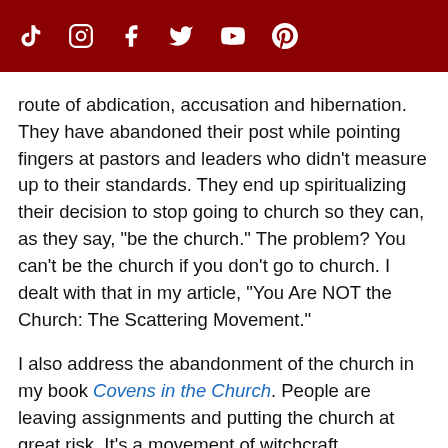Social media icons: TikTok, Instagram, Facebook, Twitter, YouTube, Pinterest
route of abdication, accusation and hibernation. They have abandoned their post while pointing fingers at pastors and leaders who didn't measure up to their standards. They end up spiritualizing their decision to stop going to church so they can, as they say, "be the church." The problem? You can't be the church if you don't go to church. I dealt with that in my article, "You Are NOT the Church: The Scattering Movement."
I also address the abandonment of the church in my book Covens in the Church. People are leaving assignments and putting the church at great risk. It's a movement of witchcraft